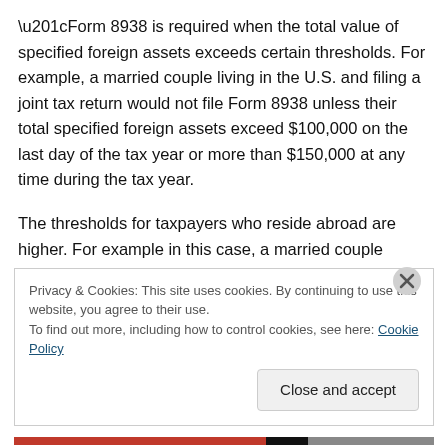“Form 8938 is required when the total value of specified foreign assets exceeds certain thresholds. For example, a married couple living in the U.S. and filing a joint tax return would not file Form 8938 unless their total specified foreign assets exceed $100,000 on the last day of the tax year or more than $150,000 at any time during the tax year.
The thresholds for taxpayers who reside abroad are higher. For example in this case, a married couple residing abroad and filing a joint return would not file Form 8938
Privacy & Cookies: This site uses cookies. By continuing to use this website, you agree to their use.
To find out more, including how to control cookies, see here: Cookie Policy
Close and accept